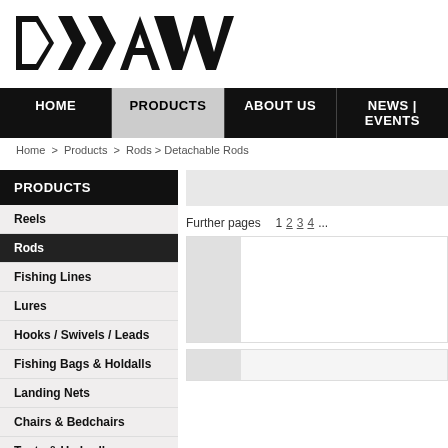[Figure (logo): DAIWA logo in large bold italic black text]
HOME | PRODUCTS | ABOUT US | NEWS | EVENTS
Home > Products > Rods > Detachable Rods
PRODUCTS
Reels
Rods
Fishing Lines
Lures
Hooks / Swivels / Leads
Fishing Bags & Holdalls
Landing Nets
Chairs & Bedchairs
Tents & Umbrellas
Rod Holders
Clothing
Baits & Attractors
Tools & Accessories
Further pages  1 2 3 4 ...